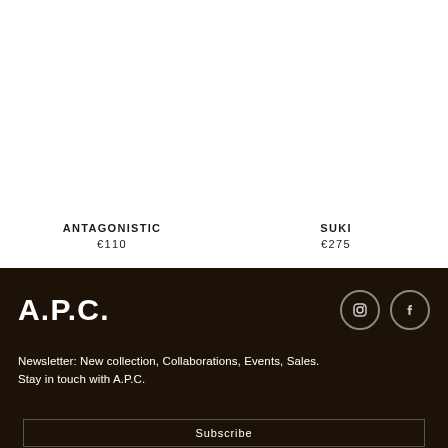ANTAGONISTIC
€110
SUKI
€275
A.P.C.
Newsletter: New collection, Collaborations, Events, Sales. Stay in touch with A.P.C.
Subscribe